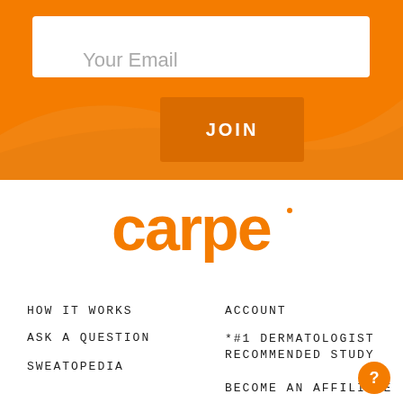Your Email
JOIN
[Figure (logo): Carpe brand logo in orange on white background]
HOW IT WORKS
ACCOUNT
ASK A QUESTION
*#1 DERMATOLOGIST RECOMMENDED STUDY
SWEATOPEDIA
BECOME AN AFFILIATE